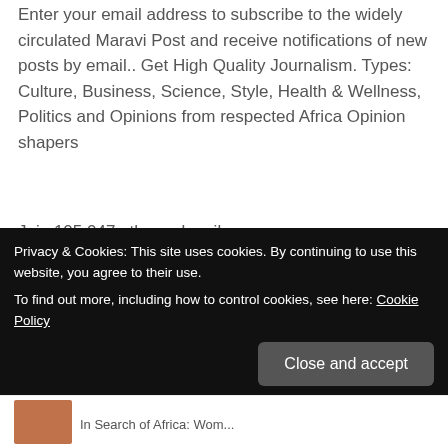Enter your email address to subscribe to the widely circulated Maravi Post and receive notifications of new posts by email.. Get High Quality Journalism. Types: Culture, Business, Science, Style, Health & Wellness, Politics and Opinions from respected Africa Opinion shapers
Join 105,047 other subscribers
Email Address
Subscribe
Privacy & Cookies: This site uses cookies. By continuing to use this website, you agree to their use. To find out more, including how to control cookies, see here: Cookie Policy
Close and accept
In Search of Africa: Wom...